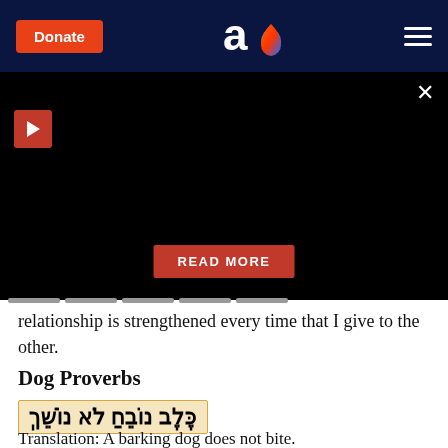Donate | Aish logo | menu
[Figure (screenshot): Black video banner area with play button (red square with white triangle) in top-left, close X button top-right, and READ MORE red button centered near bottom]
relationship is strengthened every time that I give to the other.
Dog Proverbs
כֶּלֶב נוֹבֵחַ לֹא נוֹשֵׁךְ
Translation: A barking dog does not bite.
Transliteration: Kelev novey'ach lo noshech.